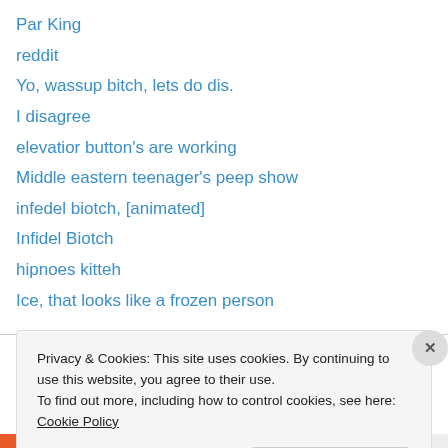Par King
reddit
Yo, wassup bitch, lets do dis.
I disagree
elevatior button's are working
Middle eastern teenager's peep show
infedel biotch, [animated]
Infidel Biotch
hipnoes kitteh
Ice, that looks like a frozen person
Recent Comments
Privacy & Cookies: This site uses cookies. By continuing to use this website, you agree to their use.
To find out more, including how to control cookies, see here: Cookie Policy
Close and accept